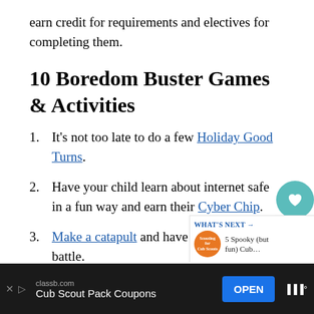earn credit for requirements and electives for completing them.
10 Boredom Buster Games & Activities
1. It's not too late to do a few Holiday Good Turns.
2. Have your child learn about internet safety in a fun way and earn their Cyber Chip.
3. Make a catapult and have a marshmallow battle.